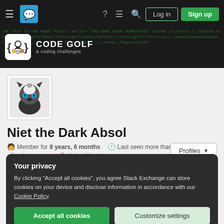Code Golf & Coding Challenges — Navigation bar with Log in and Sign up buttons
[Figure (logo): Code Golf & coding challenges logo with bracket icon on dark banner with green code background]
[Figure (photo): User avatar: cartoon dark absol/alien character with blue eyes on white background]
Profiles
Niet the Dark Absol
Member for 8 years, 6 months   Last seen more than a month ago
nsletsore.com   United Kingdom
Your privacy
By clicking "Accept all cookies", you agree Stack Exchange can store cookies on your device and disclose information in accordance with our Cookie Policy.
Accept all cookies
Customize settings